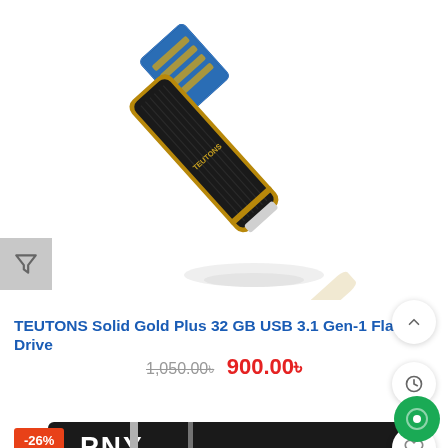[Figure (photo): TEUTONS Solid Gold Plus USB 3.1 Flash Drive — a black and gold USB drive with cap removed showing blue USB connector, product reflected below]
TEUTONS Solid Gold Plus 32 GB USB 3.1 Gen-1 Flash Drive
1,050.00৳  900.00৳
-26%
[Figure (photo): PNY product partial view — black rectangular packaging/product with PNY logo in white]